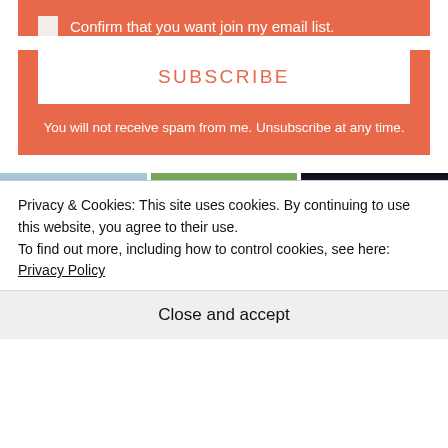Confirm that you want join my email list.
SUBSCRIBE
You will not receive spam from me. Unsubscribe at any time.
[Figure (photo): Three photos in a row: seabirds flying over boats on water, a person riding a horse in a green field, and palm fronds silhouetted against a sunset over the ocean.]
Privacy & Cookies: This site uses cookies. By continuing to use this website, you agree to their use.
To find out more, including how to control cookies, see here: Privacy Policy
Close and accept
[Figure (photo): Three partial photos along the bottom: a sandy/rocky scene, green tropical foliage, and blue water.]